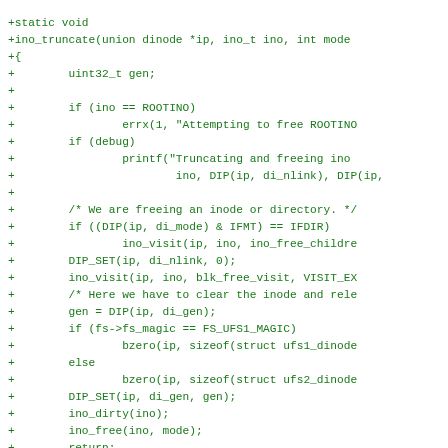[Figure (screenshot): Source code diff showing a C function ino_truncate that truncates and frees an inode, in green monospace font on white background]